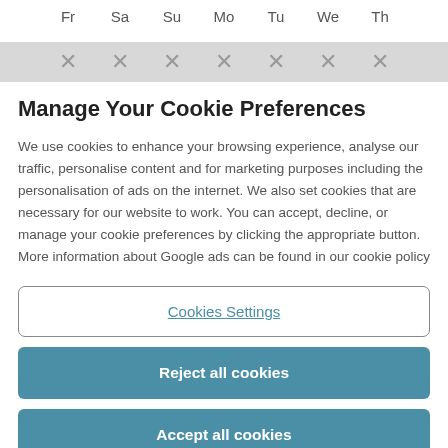Fr  Sa  Su  Mo  Tu  We  Th
[Figure (other): Row of X marks in grey bar representing a calendar or scheduler row]
Manage Your Cookie Preferences
We use cookies to enhance your browsing experience, analyse our traffic, personalise content and for marketing purposes including the personalisation of ads on the internet. We also set cookies that are necessary for our website to work. You can accept, decline, or manage your cookie preferences by clicking the appropriate button. More information about Google ads can be found in our cookie policy
Cookies Settings
Reject all cookies
Accept all cookies